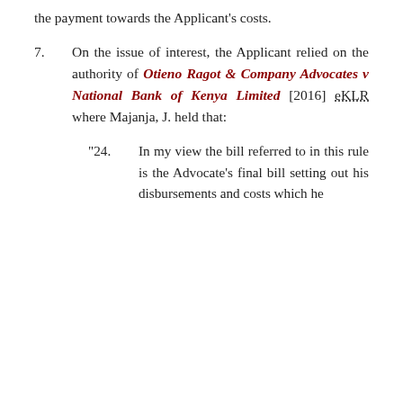the payment towards the Applicant's costs.
7. On the issue of interest, the Applicant relied on the authority of Otieno Ragot & Company Advocates v National Bank of Kenya Limited [2016] eKLR where Majanja, J. held that:
“24. In my view the bill referred to in this rule is the Advocate’s final bill setting out his disbursements and costs which he